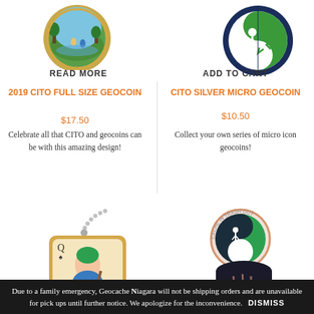[Figure (photo): Two geocoin product images at top: left is a colorful circular CITO geocoin, right is a CACHE IN TRASH OUT circular coin]
READ MORE
ADD TO CART
2019 CITO FULL SIZE GEOCOIN
$17.50
Celebrate all that CITO and geocoins can be with this amazing design!
CITO SILVER MICRO GEOCOIN
$10.50
Collect your own series of micro icon geocoins!
[Figure (photo): CITO geocoin pendant on a ball chain, playing card queen design with Cache In Trash Out branding]
[Figure (photo): CITO Silver Micro Geocoin showing yin-yang Cache In Trash Out design, and a second coin partially visible below]
Due to a family emergency, Geocache Niagara will not be shipping orders and are unavailable for pick ups until further notice. We apologize for the inconvenience.   DISMISS